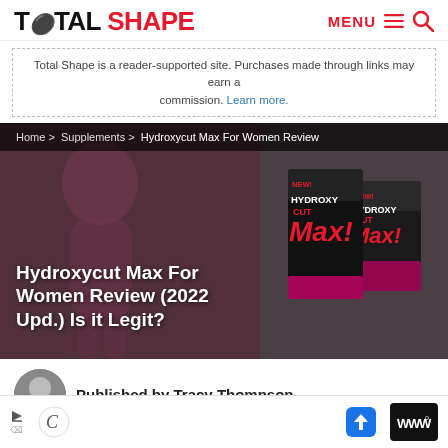TOTAL SHAPE | MENU
Total Shape is a reader-supported site. Purchases made through links may earn a commission. Learn more.
[Figure (photo): Hero image for Hydroxycut Max For Women Review article. Background shows a woman in pink athletic wear with a dark overlay. Right side shows Hydroxycut Max product boxes (pink and black packaging). Breadcrumb shows: Home > Supplements > Hydroxycut Max For Women Review.]
Hydroxycut Max For Women Review (2022 Upd.) Is it Legit?
Published by Tracy Thompson
[Figure (other): Advertisement bar at the bottom with ad icons and navigation arrow.]